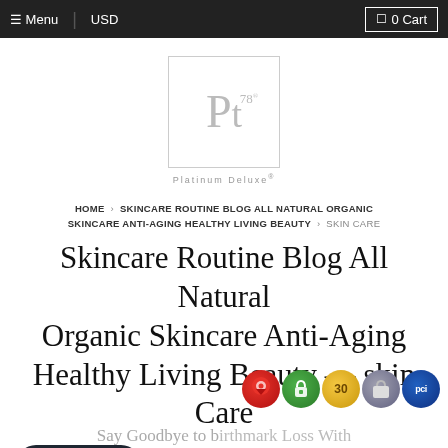Menu  USD  0 Cart
[Figure (logo): Platinum Deluxe logo: stylized Pt with superscript 78 inside a square border, with text 'Platinum Deluxe' below]
HOME › SKINCARE ROUTINE BLOG ALL NATURAL ORGANIC SKINCARE ANTI-AGING HEALTHY LIVING BEAUTY › SKIN CARE
Skincare Routine Blog All Natural Organic Skincare Anti-Aging Healthy Living Beauty — skin Care
Chat with us
BLOG MENU
Say Goodbye to birthmark Loss With